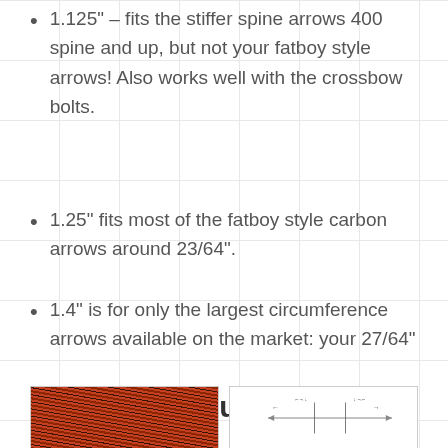1.125" – fits the stiffer spine arrows 400 spine and up, but not your fatboy style arrows! Also works well with the crossbow bolts.
1.25" fits most of the fatboy style carbon arrows around 23/64".
1.4" is for only the largest circumference arrows available on the market: your 27/64"
Related products
[Figure (photo): Red/orange fiber texture product image thumbnail]
[Figure (engineering-diagram): Arrow/bolt technical diagram with measurement indicators]